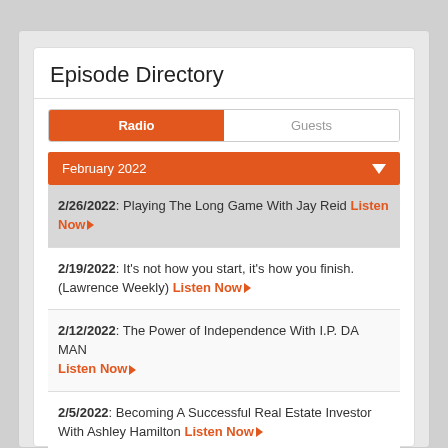Episode Directory
Radio | Guests
February 2022
2/26/2022: Playing The Long Game With Jay Reid Listen Now
2/19/2022: It's not how you start, it's how you finish. (Lawrence Weekly) Listen Now
2/12/2022: The Power of Independence With I.P. DA MAN Listen Now
2/5/2022: Becoming A Successful Real Estate Investor With Ashley Hamilton Listen Now
January 2022
December 2021